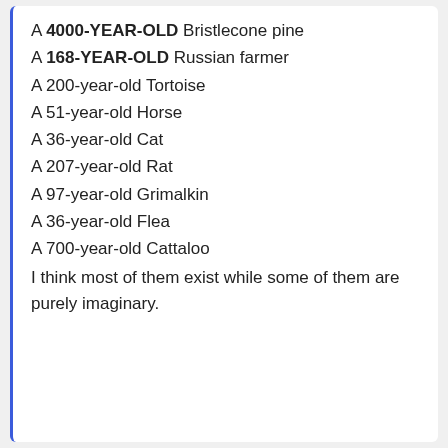A 4000-YEAR-OLD Bristlecone pine
A 168-YEAR-OLD Russian farmer
A 200-year-old Tortoise
A 51-year-old Horse
A 36-year-old Cat
A 207-year-old Rat
A 97-year-old Grimalkin
A 36-year-old Flea
A 700-year-old Cattaloo
I think most of them exist while some of them are purely imaginary.